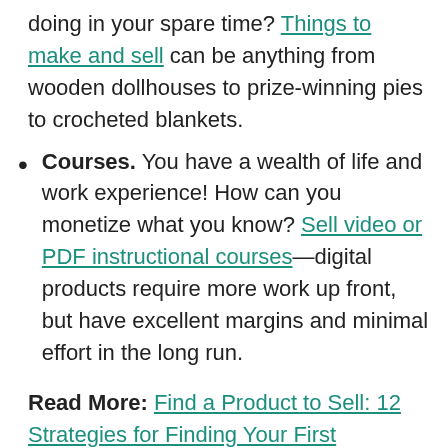doing in your spare time? Things to make and sell can be anything from wooden dollhouses to prize-winning pies to crocheted blankets.
Courses. You have a wealth of life and work experience! How can you monetize what you know? Sell video or PDF instructional courses—digital products require more work up front, but have excellent margins and minimal effort in the long run.
Read More: Find a Product to Sell: 12 Strategies for Finding Your First Profitable Product
Get inspired: Life Lessons from 9 Inspiring